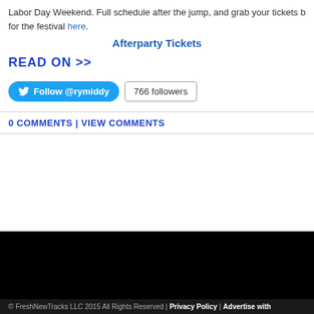Labor Day Weekend. Full schedule after the jump, and grab your tickets b for the festival here.
Afterparty Tickets
READ ON >>
[Figure (other): Twitter Follow button for @rymiddy showing 766 followers]
0 COMMENTS | VIEW COMMENTS
[Figure (other): Black content area / embedded media block]
© FreshNewTracks LLC 2015 All Rights Reserved | Privacy Policy | Advertise with